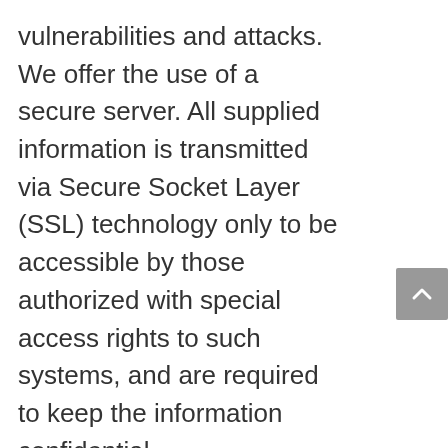vulnerabilities and attacks. We offer the use of a secure server. All supplied information is transmitted via Secure Socket Layer (SSL) technology only to be accessible by those authorized with special access rights to such systems, and are required to keep the information confidential.
Even though we try our best we can not guarantee the security of information. However, we promise to notify suitable authorities of data breaches. We will also notify you if there is a threat to your rights or interests. We will do everything